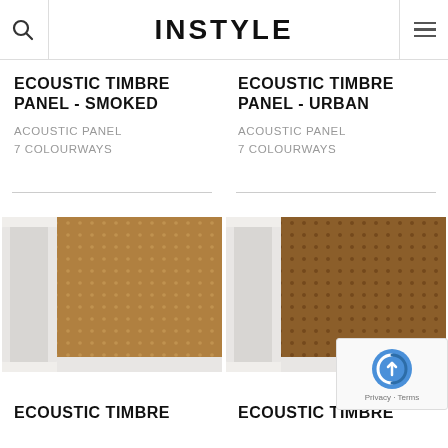INSTYLE
ECOUSTIC TIMBRE PANEL - SMOKED
ACOUSTIC PANEL
7 COLOURWAYS
ECOUSTIC TIMBRE PANEL - URBAN
ACOUSTIC PANEL
7 COLOURWAYS
[Figure (photo): Ecoustic Timbre Panel Smoked - tan/gold acoustic panel with small dot perforation pattern, white frame edge visible]
[Figure (photo): Ecoustic Timbre Panel Urban - darker brown acoustic panel with dot perforation pattern, white frame edge visible]
ECOUSTIC TIMBRE
ECOUSTIC TIMBRE